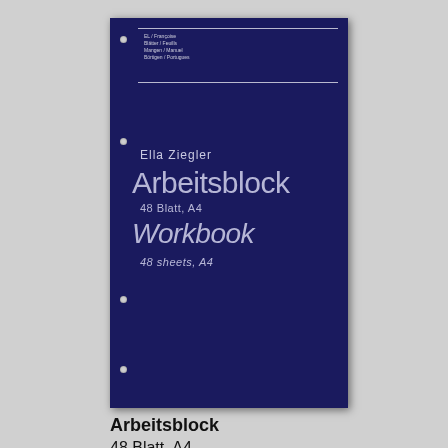[Figure (photo): Dark navy blue notebook/workbook cover with hole punches on the left side, showing author name 'Ella Ziegler', title 'Arbeitsblock', subtitle '48 Blatt, A4', English title 'Workbook', and English subtitle '48 sheets, A4'. Small information box at the top with fine text lines.]
Arbeitsblock
48 Blatt, A4